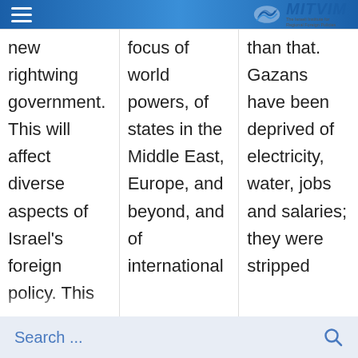MITVIM – The Israeli Institute for Regional Foreign Policies
new rightwing government. This will affect diverse aspects of Israel's foreign policy. This
focus of world powers, of states in the Middle East, Europe, and beyond, and of international corporations
than that. Gazans have been deprived of electricity, water, jobs and salaries; they were stripped off their